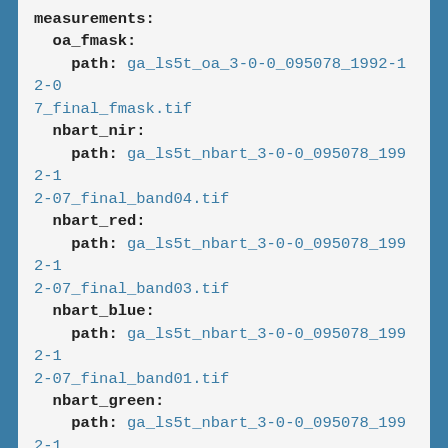measurements:
  oa_fmask:
    path: ga_ls5t_oa_3-0-0_095078_1992-12-07_final_fmask.tif
  nbart_nir:
    path: ga_ls5t_nbart_3-0-0_095078_1992-12-07_final_band04.tif
  nbart_red:
    path: ga_ls5t_nbart_3-0-0_095078_1992-12-07_final_band03.tif
  nbart_blue:
    path: ga_ls5t_nbart_3-0-0_095078_1992-12-07_final_band01.tif
  nbart_green:
    path: ga_ls5t_nbart_3-0-0_095078_1992-12-07_final_band02.tif
  nbart_swir_1:
    path: ga_ls5t_nbart_3-0-0_095078_1992-12-07_final_band05.tif